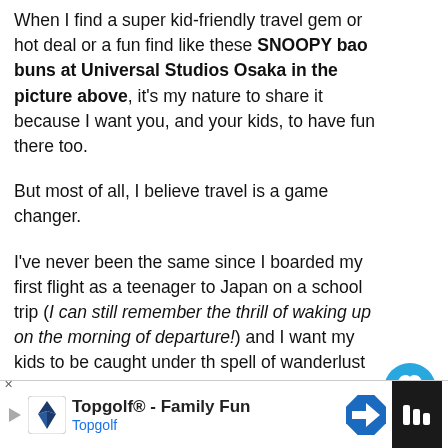When I find a super kid-friendly travel gem or hot deal or a fun find like these SNOOPY bao buns at Universal Studios Osaka in the picture above, it's my nature to share it because I want you, and your kids, to have fun there too.
But most of all, I believe travel is a game changer.
I've never been the same since I boarded my first flight as a teenager to Japan on a school trip (I can still remember the thrill of waking up on the morning of departure!) and I want my kids to be caught under th spell of wanderlust too.
In fact, I want YOU and your kids to catch the
[Figure (infographic): Social sharing UI overlay with heart/like button in blue circle, count of 1, and share icon button]
[Figure (infographic): What's Next widget showing thumbnail image of people in red jackets and text: WHAT'S NEXT → WORK WITH US AT ROA...]
[Figure (infographic): Advertisement banner for Topgolf - Family Fun / Topgolf with Topgolf logo, navigation arrow icon, and mute button]